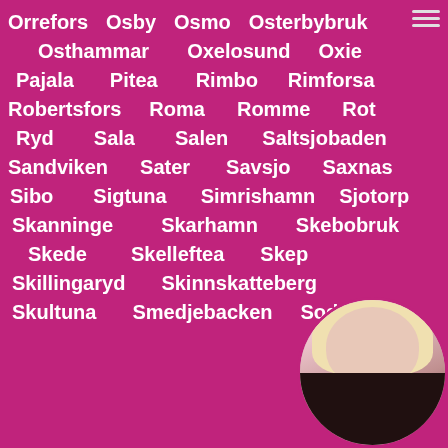Orrefors  Osby  Osmo  Osterbybruk
Osthammar  Oxelosund  Oxie
Pajala  Pitea  Rimbo  Rimforsa
Robertsfors  Roma  Romme  Rot
Ryd  Sala  Salen  Saltsjobaden
Sandviken  Sater  Savsjo  Saxnas
Sibo  Sigtuna  Simrishamn  Sjotorp
Skanninge  Skarhamn  Skebobruk
Skede  Skelleftea  Skep...
Skillingaryd  Skinnskatteberg
Skultuna  Smedjebacken  Soderhamn
[Figure (photo): Circular avatar photo of a blonde woman in dark clothing, positioned at bottom right corner]